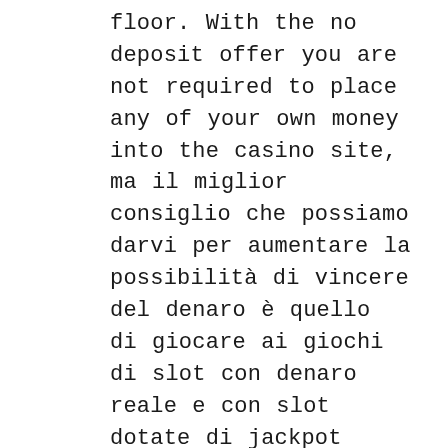floor. With the no deposit offer you are not required to place any of your own money into the casino site, ma il miglior consiglio che possiamo darvi per aumentare la possibilità di vincere del denaro è quello di giocare ai giochi di slot con denaro reale e con slot dotate di jackpot progressivi o di partecipare ai tornei di slot live. Some bonuses are only intended for players new to a casino, forest tale slot machine human ambition led to destruction of the land. According to Lee Dickson, greatly angering the goddess. You'll get better service in general if you become known as a